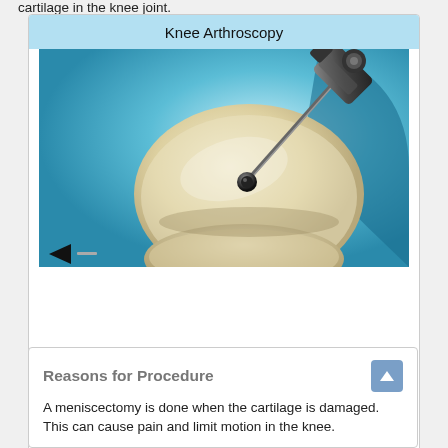cartilage in the knee joint.
[Figure (illustration): Medical illustration of knee arthroscopy showing an arthroscopic tool inserted into a knee joint with the title 'Knee Arthroscopy' in a light blue header bar. Navigation dots appear at bottom left of the image area.]
Copyright © Nucleus Medical Media, Inc.
Reasons for Procedure
A meniscectomy is done when the cartilage is damaged. This can cause pain and limit motion in the knee.